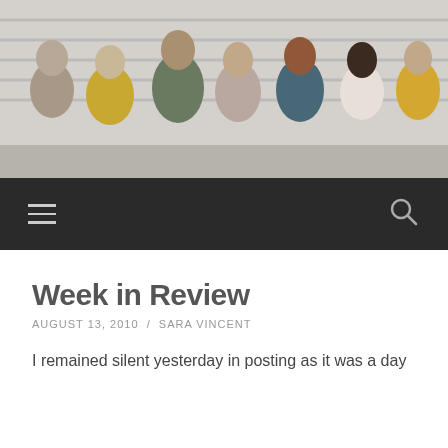[Figure (photo): Group of diverse young adults smiling and laughing together against a white siding wall background]
Navigation bar with hamburger menu icon and search icon
Week in Review
AUGUST 13, 2010 / SARA VINCENT
I remained silent yesterday in posting as it was a day
Privacy & Cookies: This site uses cookies. By continuing to use this website, you agree to their use.
To find out more, including how to control cookies, see here: Cookie Policy
Close and accept